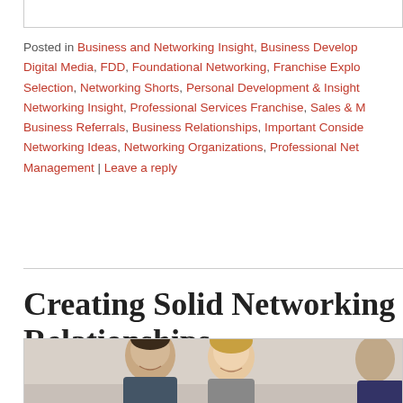Posted in Business and Networking Insight, Business Development, Digital Media, FDD, Foundational Networking, Franchise Exploration & Selection, Networking Shorts, Personal Development & Insight, Networking Insight, Professional Services Franchise, Sales & Marketing, Business Referrals, Business Relationships, Important Considerations, Networking Ideas, Networking Organizations, Professional Networking, Management | Leave a reply
Creating Solid Networking Relationships
Posted on August 5, 2015 by frankagin
We serve to create solid relationships with people in our lives w... about to make three things happen, and can be distilled down i... words: Know, Like & Trust.
[Figure (photo): Photo of smiling business professionals, two visible faces (man and woman) in foreground, third person partially visible on right]